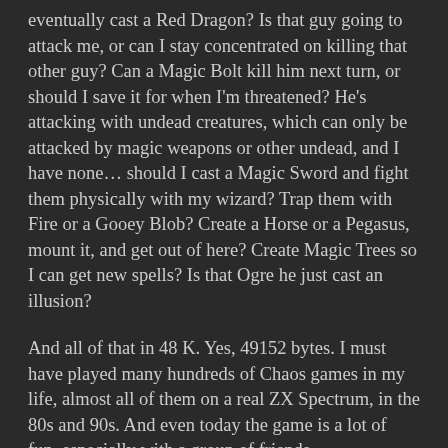eventually cast a Red Dragon? Is that guy going to attack me, or can I stay concentrated on killing that other guy? Can a Magic Bolt kill him next turn, or should I save it for when I'm threatened? He's attacking with undead creatures, which can only be attacked by magic weapons or other undead, and I have none... should I cast a Magic Sword and fight them physically with my wizard? Trap them with Fire or a Gooey Blob? Create a Horse or a Pegasus, mount it, and get out of here? Create Magic Trees so I can get new spells? Is that Ogre he just cast an illusion?
And all of that in 48 K. Yes, 49152 bytes. I must have played many hundreds of Chaos games in my life, almost all of them on a real ZX Spectrum, in the 80s and 90s. And even today the game is a lot of fun, especially with a group of friends.